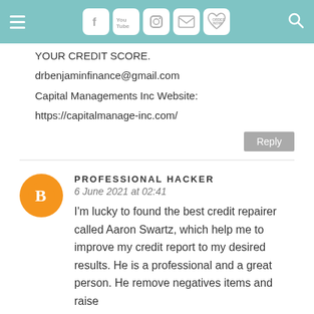Navigation bar with hamburger menu, social icons (Facebook, YouTube, Instagram, Email, Order Now), and search icon
YOUR CREDIT SCORE.
drbenjaminfinance@gmail.com
Capital Managements Inc Website:
https://capitalmanage-inc.com/
Reply
PROFESSIONAL HACKER
6 June 2021 at 02:41
I'm lucky to found the best credit repairer called Aaron Swartz, which help me to improve my credit report to my desired results. He is a professional and a great person. He remove negatives items and raise